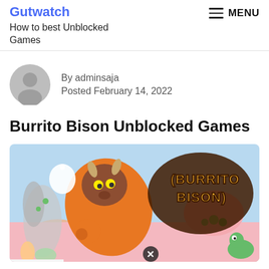Gutwatch
How to best Unblocked Games
MENU
By adminsaja
Posted February 14, 2022
Burrito Bison Unblocked Games
[Figure (illustration): Burrito Bison game promotional image showing a cartoon bison character wrapped in a burrito, with the Burrito Bison logo in orange and brown letters on the right, colorful candy-land background with green frogs and pink landscape.]